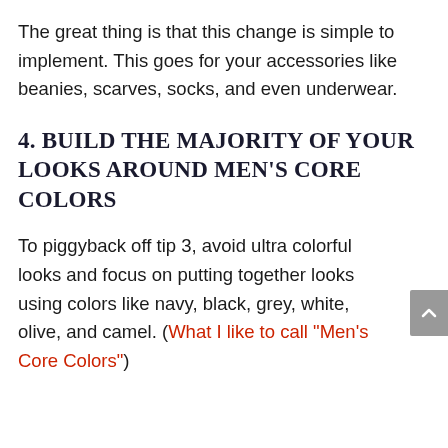The great thing is that this change is simple to implement. This goes for your accessories like beanies, scarves, socks, and even underwear.
4. BUILD THE MAJORITY OF YOUR LOOKS AROUND MEN'S CORE COLORS
To piggyback off tip 3, avoid ultra colorful looks and focus on putting together looks using colors like navy, black, grey, white, olive, and camel. (What I like to call “Men’s Core Colors”)